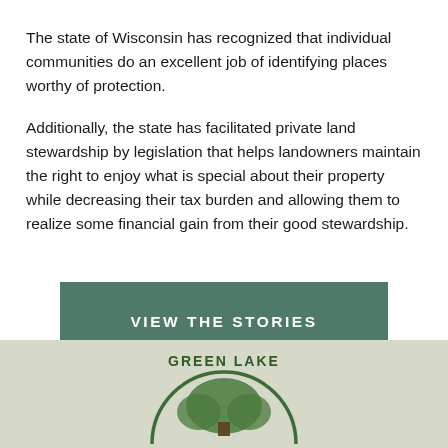The state of Wisconsin has recognized that individual communities do an excellent job of identifying places worthy of protection.
Additionally, the state has facilitated private land stewardship by legislation that helps landowners maintain the right to enjoy what is special about their property while decreasing their tax burden and allowing them to realize some financial gain from their good stewardship.
VIEW THE STORIES
[Figure (logo): Green Lake county/organization circular logo with tree imagery and text 'GREEN LAKE']